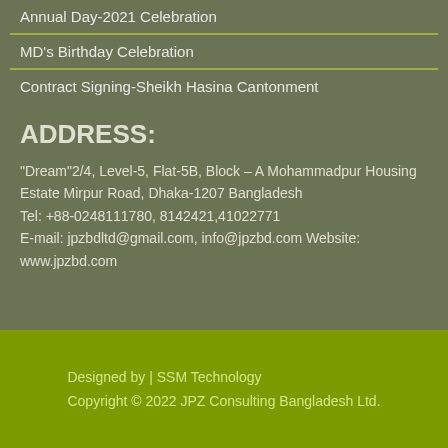Annual Day-2021 Celebration
MD's Birthday Celebration
Contract Signing-Sheikh Hasina Cantonment
ADDRESS:
"Dream"2/4, Level-5, Flat-5B, Block – A Mohammadpur Housing Estate Mirpur Road, Dhaka-1207 Bangladesh
Tel: +88-0248111780, 8142421,41022771
E-mail: jpzbdltd@gmail.com, info@jpzbd.com Website: www.jpzbd.com
Designed by | SSM Technology
Copyright © 2022 JPZ Consulting Bangladesh Ltd.